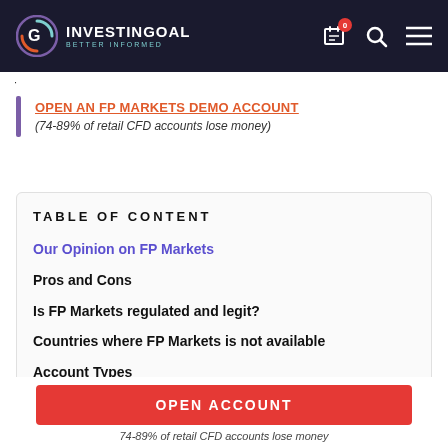INVESTINGOAL BETTER INFORMED
.
OPEN AN FP MARKETS DEMO ACCOUNT
(74-89% of retail CFD accounts lose money)
TABLE OF CONTENT
Our Opinion on FP Markets
Pros and Cons
Is FP Markets regulated and legit?
Countries where FP Markets is not available
Account Types
OPEN ACCOUNT
74-89% of retail CFD accounts lose money